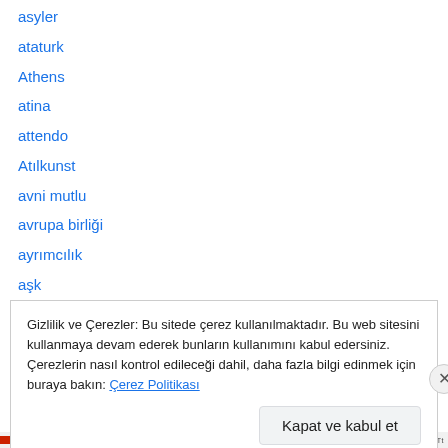asyler
ataturk
Athens
atina
attendo
Atılkunst
avni mutlu
avrupa birliği
ayrımcılık
aşk
aıap
aıca
ättestupa
Gizlilik ve Çerezler: Bu sitede çerez kullanılmaktadır. Bu web sitesini kullanmaya devam ederek bunların kullanımını kabul edersiniz. Çerezlerin nasıl kontrol edileceği dahil, daha fazla bilgi edinmek için buraya bakın: Çerez Politikası
Kapat ve kabul et